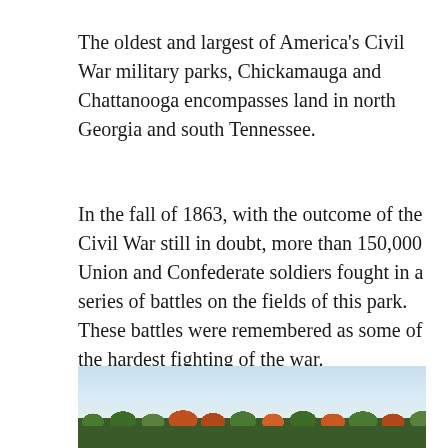The oldest and largest of America's Civil War military parks, Chickamauga and Chattanooga encompasses land in north Georgia and south Tennessee.
In the fall of 1863, with the outcome of the Civil War still in doubt, more than 150,000 Union and Confederate soldiers fought in a series of battles on the fields of this park. These battles were remembered as some of the hardest fighting of the war.
[Figure (photo): Outdoor landscape photo showing a treeline with autumn-colored deciduous trees against a pale blue sky, taken at a Civil War military park.]